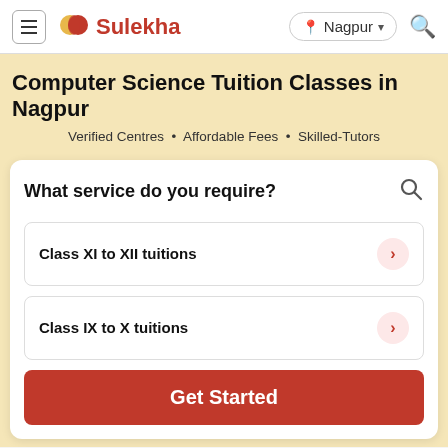Sulekha — Nagpur
Computer Science Tuition Classes in Nagpur
Verified Centres • Affordable Fees • Skilled-Tutors
What service do you require?
Class XI to XII tuitions
Class IX to X tuitions
Get Started
How Sulekha works?
1   2   3